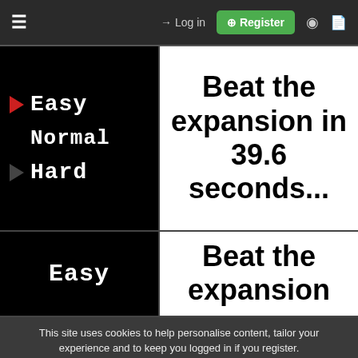☰  → Log in  ⊕ Register  ◑  🗋
[Figure (screenshot): Game difficulty selection screen showing Easy (with red triangle), Normal, and Hard options on black background]
Beat the expansion in 39.6 seconds...
[Figure (screenshot): Game difficulty selection screen showing Easy option on black background]
Beat the expansion
This site uses cookies to help personalise content, tailor your experience and to keep you logged in if you register.
By continuing to use this site, you are consenting to our use of cookies.
✓ Accept    Learn more...